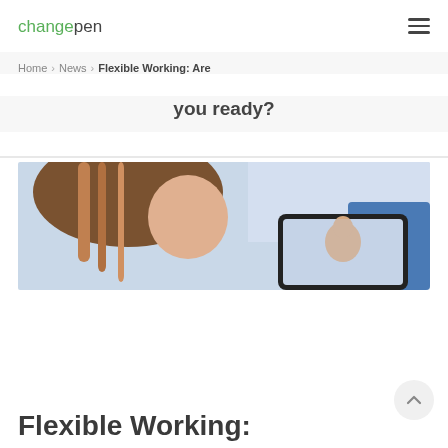changepen
Home > News > Flexible Working: Are you ready?
Flexible Working: Are you ready?
[Figure (photo): Woman viewed from behind looking at a tablet screen showing a video call, with a blue background]
Flexible Working: